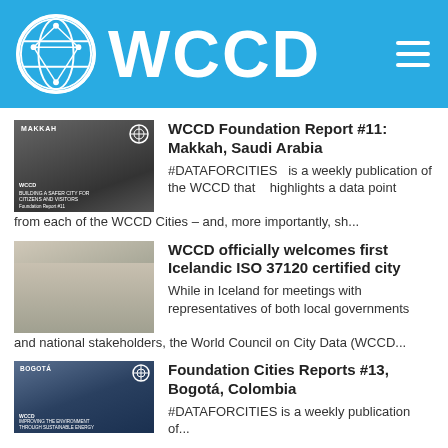WCCD
WCCD Foundation Report #11: Makkah, Saudi Arabia
#DATAFORCITIES  is a weekly publication of the WCCD that   highlights a data point from each of the WCCD Cities – and, more importantly, sh...
WCCD officially welcomes first Icelandic ISO 37120 certified city
While in Iceland for meetings with representatives of both local governments and national stakeholders, the World Council on City Data (WCCD...
Foundation Cities Reports #13, Bogotá, Colombia
#DATAFORCITIES is a weekly publication of...